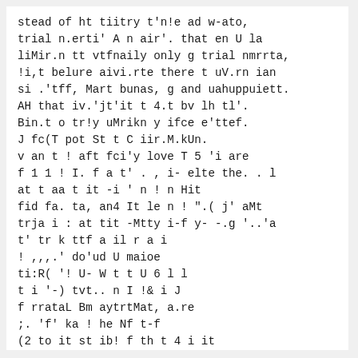stead of ht tiitry t'n!e ad w-ato,
trial n.erti' A n air'. that en U la
liMir.n tt vtfnaily only g trial nmrrta,
!i,t belure aivi.rte there t uV.rn ian
si .'tff, Mart bunas, g and uahuppuiett.
AH that iv.'jt'it t 4.t bv lh tl'.
Bin.t o tr!y uMrikn y ifce e'ttef.
J fc(T pot St t C iir.M.kUn.
v an t ! aft fci'y love T 5 'i are
f 1 1 ! I. f a t' . , i- elte the. . l
at t aa t it -i ' n ! n Hit
fid fa. ta, an4 It le n ! ".( j' aMt
trja i : at tit -Mtty i-f y- -.g '..'a
t' tr k ttf a il r a i
! ,,,.' do'ud U maioe
ti:R( '! U- W t t U 6 l l
t i '-) tvt.. n I !& i J
f rrataL Bm aytrtMat, a.re
;. 'f' ka ! he Nf t-f
(2 to it st ib! f th t 4 i it